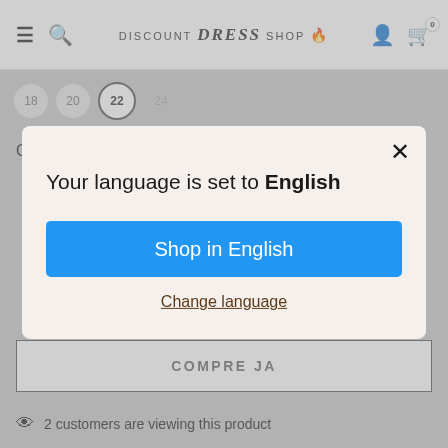[Figure (screenshot): E-commerce website header with hamburger menu, search icon, Discount Dress Shop logo with flame icon, user icon, and shopping bag icon showing 0 items]
18  20  22  24
Quantidade:
Your language is set to English
Shop in English
Change language
COMPRE JA
2 customers are viewing this product